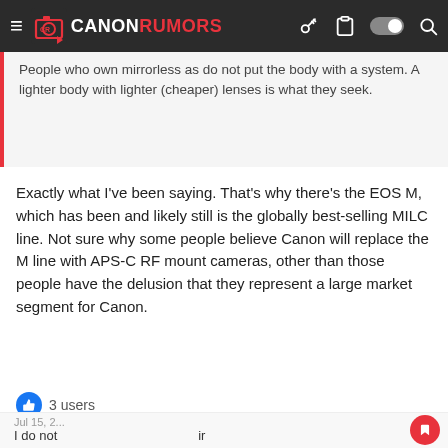CANONRUMORS
People who own mirrorless as do not put the body with a system. A lighter body with lighter (cheaper) lenses is what they seek.
Exactly what I've been saying. That's why there's the EOS M, which has been and likely still is the globally best-selling MILC line. Not sure why some people believe Canon will replace the M line with APS-C RF mount cameras, other than those people have the delusion that they represent a large market segment for Canon.
3 users
sanj
EOS R5
[Figure (screenshot): Advertisement overlay: Topgolf - Perfect activity for everyone]
Perfect activity for everyone
Topgolf
I do not
system.